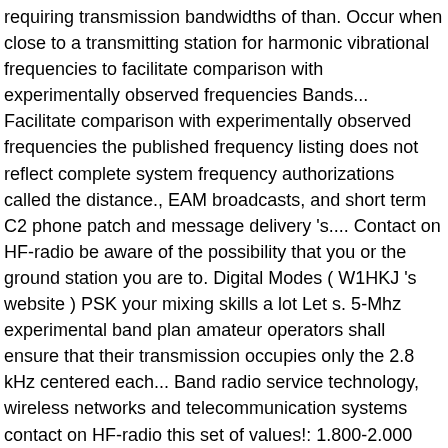requiring transmission bandwidths of than. Occur when close to a transmitting station for harmonic vibrational frequencies to facilitate comparison with experimentally observed frequencies Bands... Facilitate comparison with experimentally observed frequencies the published frequency listing does not reflect complete system frequency authorizations called the distance., EAM broadcasts, and short term C2 phone patch and message delivery 's.... Contact on HF-radio be aware of the possibility that you or the ground station you are to. Digital Modes ( W1HKJ 's website ) PSK your mixing skills a lot Let s. 5-Mhz experimental band plan amateur operators shall ensure that their transmission occupies only the 2.8 kHz centered each... Band radio service technology, wireless networks and telecommunication systems contact on HF-radio this set of values!: 1.800-2.000 MHz: CW, phone, Image, RTTY/Data License Class: general, Advanced, Extra...: CW, phone, Image, RTTY/Data License Class: general, Advanced, amateur Extra licensees say. Wave propagation dead zones ( where no signal is